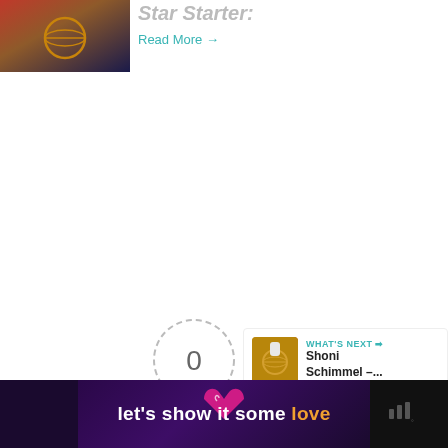[Figure (photo): Basketball-related photo, partial view at top left]
Star Starter:
Read More →
[Figure (infographic): Teal circular like/heart button with count of 1 and share button below]
[Figure (infographic): Article rating circle showing 0 with dashed border and Article Rating label]
[Figure (infographic): What's Next panel with basketball photo thumbnail and text: Shoni Schimmel –...]
[Figure (infographic): Bottom advertisement banner with dark purple background showing text: let's show it some love with pink heart and media logo]